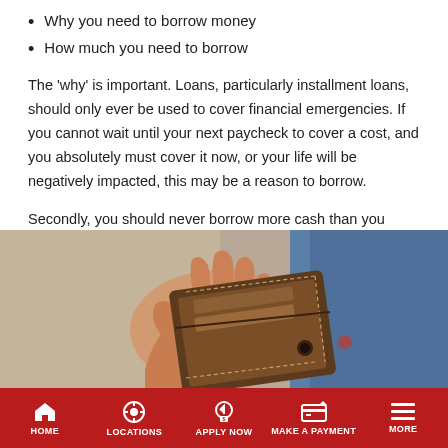Why you need to borrow money
How much you need to borrow
The 'why' is important. Loans, particularly installment loans, should only ever be used to cover financial emergencies. If you cannot wait until your next paycheck to cover a cost, and you absolutely must cover it now, or your life will be negatively impacted, this may be a reason to borrow.
Secondly, you should never borrow more cash than you need to. Know exactly how much you need to borrow and stick with it.
[Figure (photo): A hand holding an open brown leather wallet, person wearing a blue suit jacket, beige/grey background]
HOME | LOCATIONS | APPLY NOW | MAKE A PAYMENT | MORE